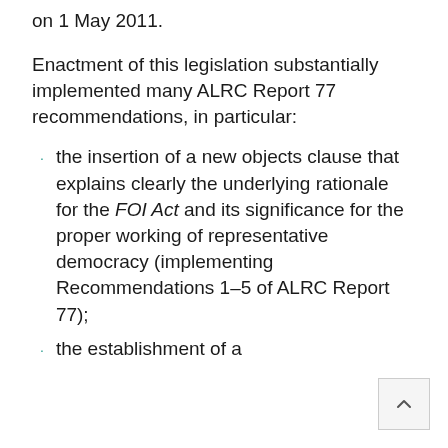on 1 May 2011.
Enactment of this legislation substantially implemented many ALRC Report 77 recommendations, in particular:
the insertion of a new objects clause that explains clearly the underlying rationale for the FOI Act and its significance for the proper working of representative democracy (implementing Recommendations 1–5 of ALRC Report 77);
the establishment of a